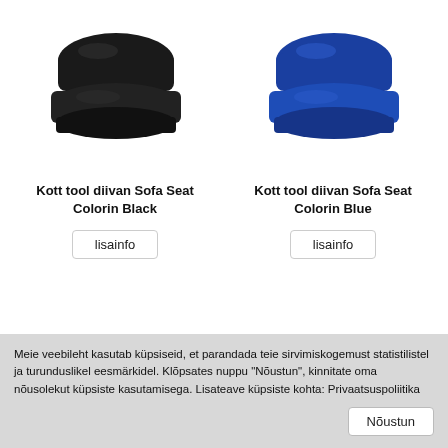[Figure (photo): Black bean bag sofa seat (Kott tool diivan Sofa Seat Colorin Black)]
[Figure (photo): Blue bean bag sofa seat (Kott tool diivan Sofa Seat Colorin Blue)]
Kott tool diivan Sofa Seat Colorin Black
lisainfo
Kott tool diivan Sofa Seat Colorin Blue
lisainfo
Meie veebileht kasutab küpsiseid, et parandada teie sirvimiskogemust statistilistel ja turunduslikel eesmärkidel. Klõpsates nuppu "Nõustun", kinnitate oma nõusolekut küpsiste kasutamisega. Lisateave küpsiste kohta: Privaatsuspoliitika
Nõustun